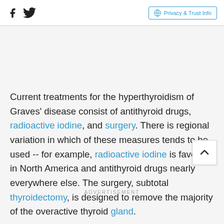Social icons (Facebook, Twitter) | Privacy & Trust Info
Current treatments for the hyperthyroidism of Graves' disease consist of antithyroid drugs, radioactive iodine, and surgery. There is regional variation in which of these measures tends to be used -- for example, radioactive iodine is favored in North America and antithyroid drugs nearly everywhere else. The surgery, subtotal thyroidectomy, is designed to remove the majority of the overactive thyroid gland.
ADVERTISEMENT